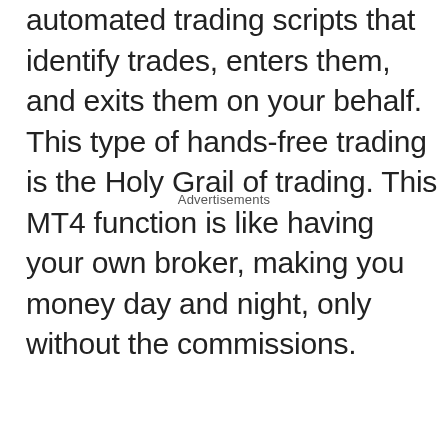automated trading scripts that identify trades, enters them, and exits them on your behalf. This type of hands-free trading is the Holy Grail of trading. This MT4 function is like having your own broker, making you money day and night, only without the commissions.
Advertisements